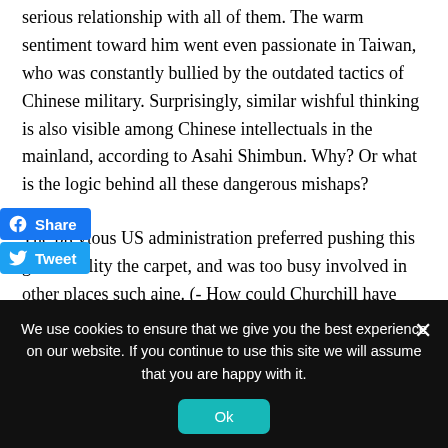serious relationship with all of them. The warm sentiment toward him went even passionate in Taiwan, who was constantly bullied by the outdated tactics of Chinese military. Surprisingly, similar wishful thinking is also visible among Chinese intellectuals in the mainland, according to Asahi Shimbun. Why? Or what is the logic behind all these dangerous mishaps?
The previous US administration preferred pushing this grave reality [under] the carpet, and was too busy involved in other places such [as Ukr]aine. (- How could Churchill have ignored Hitler in dealing with only Franco?) He treated the elected Russian leader with respect, knowing they are still important for America's global goal. Worry for the world is, even academics in the US do not discuss on
[Figure (other): Facebook Share button (blue) and Twitter Tweet button (blue) overlaid on the left side of the text]
We use cookies to ensure that we give you the best experience on our website. If you continue to use this site we will assume that you are happy with it.